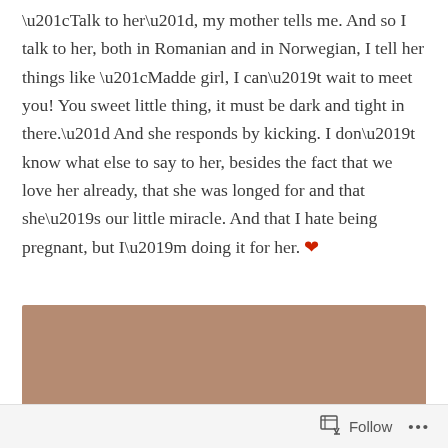“Talk to her”, my mother tells me. And so I talk to her, both in Romanian and in Norwegian, I tell her things like “Madde girl, I can’t wait to meet you! You sweet little thing, it must be dark and tight in there.” And she responds by kicking. I don’t know what else to say to her, besides the fact that we love her already, that she was longed for and that she’s our little miracle. And that I hate being pregnant, but I’m doing it for her. ❤
[Figure (photo): A partially visible photograph with a warm brown/tan background color, content largely obscured.]
Follow ...